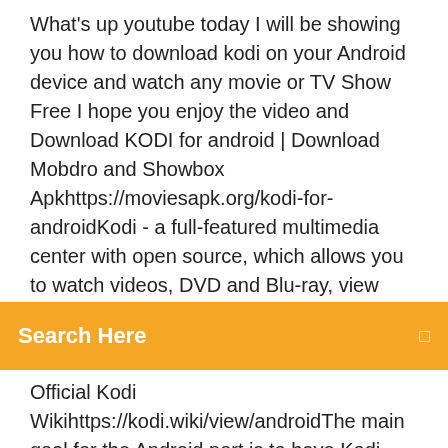What's up youtube today I will be showing you how to download kodi on your Android device and watch any movie or TV Show Free I hope you enjoy the video and Download KODI for android | Download Mobdro and Showbox Apkhttps://moviesapk.org/kodi-for-androidKodi - a full-featured multimedia center with open source, which allows you to watch videos, DVD and Blu-ray, view
Search Here
Official Kodi Wikihttps://kodi.wiki/view/androidThe main goal for the Android port is to have Kodi working on inexpensive Android set-top-boxes. And whole Android smartphones and tablets are not the main target platforms they do have limited support as well. Kodi, free and safe download. Kodi latest version: Multimedia Hub On A Single Platform. Kodi is an open-source media player created by the XBMC Foundation. This app hosts local and onli. Kodi - Skyscraper Outreach - Free download as PDF File (.pdf), Text File (.txt) or view presentation slides online. Showing Technique for Presentation